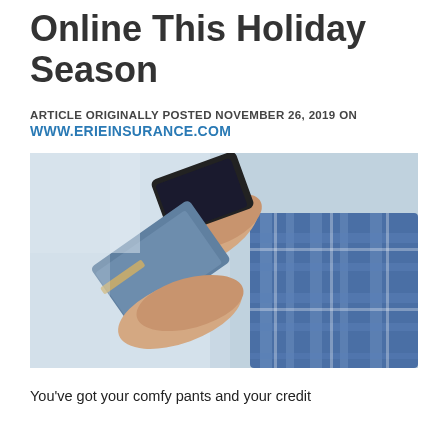Online This Holiday Season
ARTICLE ORIGINALLY POSTED NOVEMBER 26, 2019 ON
WWW.ERIEINSURANCE.COM
[Figure (photo): Person in blue plaid shirt holding a smartphone and credit card, engaged in online shopping.]
You've got your comfy pants and your credit